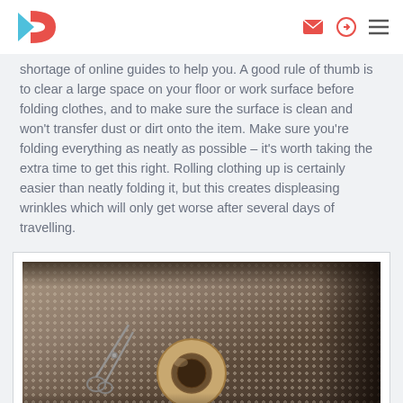[Logo] [envelope icon] [login icon] [menu icon]
shortage of online guides to help you. A good rule of thumb is to clear a large space on your floor or work surface before folding clothes, and to make sure the surface is clean and won't transfer dust or dirt onto the item. Make sure you're folding everything as neatly as possible – it's worth taking the extra time to get this right. Rolling clothing up is certainly easier than neatly folding it, but this creates displeasing wrinkles which will only get worse after several days of travelling.
[Figure (photo): Photo showing scissors and a roll of tape on a bubble wrap / textured surface, with dark fabric in the background]